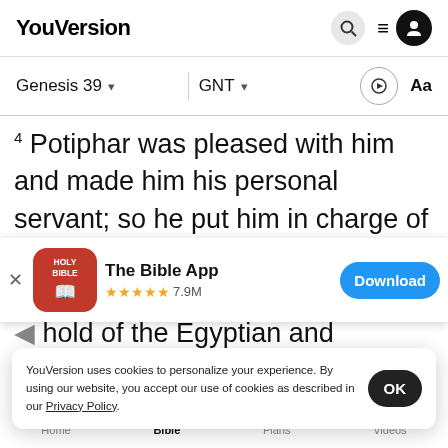YouVersion
Genesis 39  ▾   GNT  ▾
Potiphar was pleased with him and made him his personal servant; so he put him in charge of his house and everything he owned. 5 From then on
[Figure (screenshot): App download banner: The Bible App, 5 stars, 7.9M ratings, Download button]
hold of the Egyptian and everything the
had in h
over ev
YouVersion uses cookies to personalize your experience. By using our website, you accept our use of cookies as described in our Privacy Policy.
Home  Bible  Plans  Videos